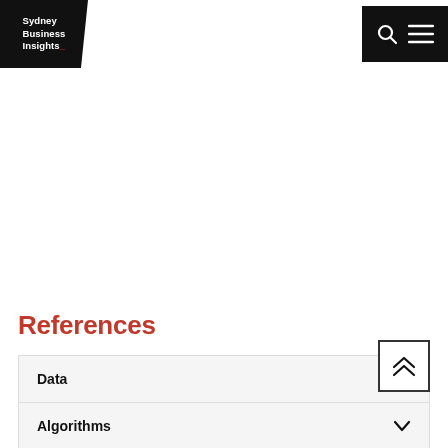Sydney Business Insights
References
Data
Algorithms
AlphaGo Zero